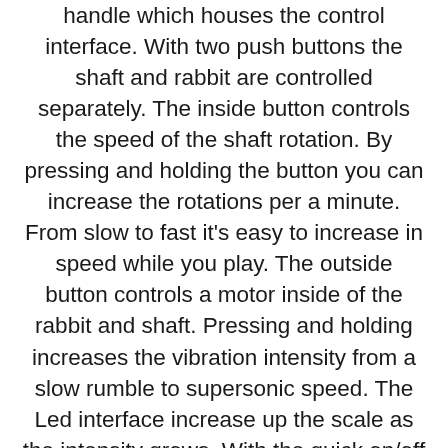handle which houses the control interface. With two push buttons the shaft and rabbit are controlled separately. The inside button controls the speed of the shaft rotation. By pressing and holding the button you can increase the rotations per a minute. From slow to fast it’s easy to increase in speed while you play. The outside button controls a motor inside of the rabbit and shaft. Pressing and holding increases the vibration intensity from a slow rumble to supersonic speed. The Led interface increase up the scale as the intensity grows. With the quick on/off it’s easy and convenient to turn off when you’re done.